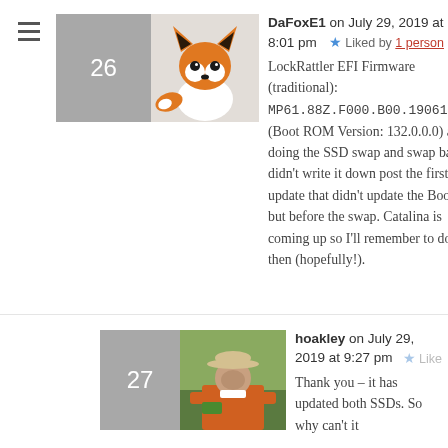DaFoxE1 on July 29, 2019 at 8:01 pm — Liked by 1 person
LockRattler EFI Firmware (traditional): MP61.88Z.F000.B00.1906132222 (Boot ROM Version: 132.0.0.0) after doing the SSD swap and swap back. I didn't write it down post the first update that didn't update the Boot Rom but before the swap. Catalina is coming up so I'll remember to do it then (hopefully!).
hoakley on July 29, 2019 at 9:27 pm — Like
Thank you – it has updated both SSDs. So why can't it…